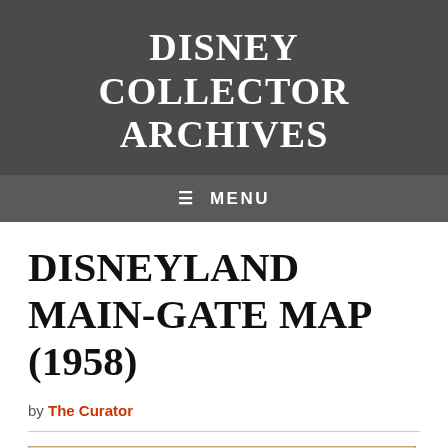DISNEY COLLECTOR ARCHIVES
≡ MENU
DISNEYLAND MAIN-GATE MAP (1958)
by The Curator
[Figure (photo): Partial view of a 1958 Disneyland Main-Gate Map showing a red banner/header area with partial dark lettering visible at the bottom edge, on a tan/beige background.]